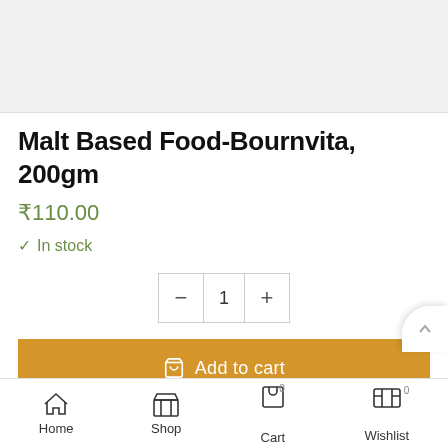[Figure (photo): Product image placeholder (light gray background)]
Malt Based Food-Bournvita, 200gm
₹110.00
✓ In stock
Quantity selector: − 1 +
Add to cart
OR
Home  Shop  Cart 0  Wishlist 0